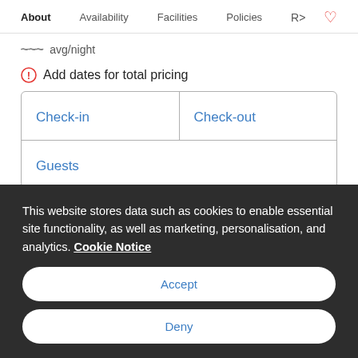About  Availability  Facilities  Policies  R>  ♡
~~~ avg/night
⊕ Add dates for total pricing
| Check-in | Check-out |
| --- | --- |
| Guests |  |
This website stores data such as cookies to enable essential site functionality, as well as marketing, personalisation, and analytics. Cookie Notice
Accept
Deny